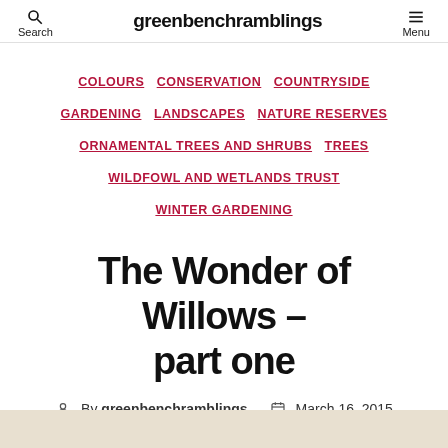greenbenchramblings  Search  Menu
COLOURS
CONSERVATION
COUNTRYSIDE
GARDENING
LANDSCAPES
NATURE RESERVES
ORNAMENTAL TREES AND SHRUBS
TREES
WILDFOWL AND WETLANDS TRUST
WINTER GARDENING
The Wonder of Willows – part one
By greenbenchramblings   March 16, 2015   2 Comments